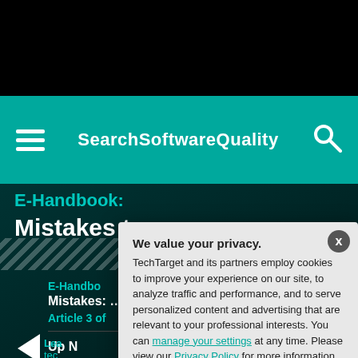SearchSoftwareQuality
E-Handbook: Mistakes to avoid in mobile app development
E-Handbook
Mistakes to avoid in mobile app development
Article 3 of
Up Next
Learn how to avoid mobile tech mistakes on larger projects
[Figure (screenshot): Privacy consent modal dialog overlay on a SearchSoftwareQuality webpage showing 'We value your privacy.' heading with cookie policy text, manage your settings link, Privacy Policy link, and OK / Settings buttons.]
We value your privacy. TechTarget and its partners employ cookies to improve your experience on our site, to analyze traffic and performance, and to serve personalized content and advertising that are relevant to your professional interests. You can manage your settings at any time. Please view our Privacy Policy for more information
OK
Settings